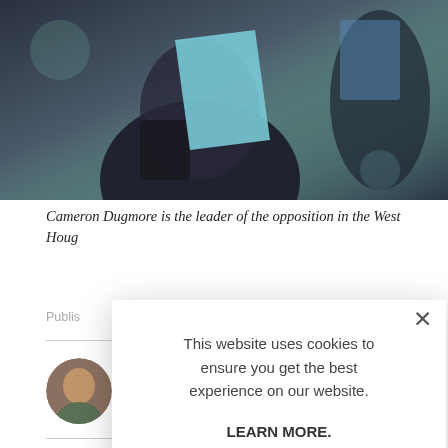[Figure (photo): Person in dark clothing holding a light blue paper/document, dark blurred background]
Cameron Dugmore is the leader of the opposition in the West ... Houg...
Publis...
[Figure (screenshot): Cookie consent modal dialog with close button (×), message 'This website uses cookies to ensure you get the best experience on our website.', 'LEARN MORE.' in bold, and 'ACCEPT COOKIES' button in light blue]